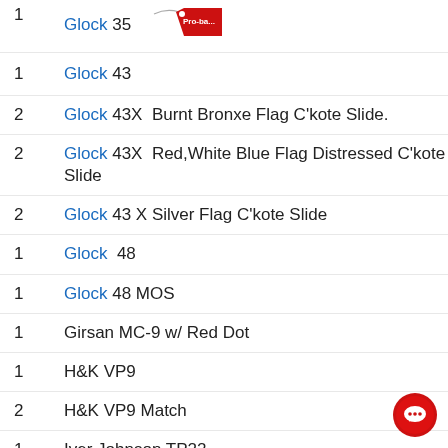1  Glock 35  [price tag]
1  Glock 43
2  Glock 43X  Burnt Bronxe Flag C'kote Slide.
2  Glock 43X  Red,White Blue Flag Distressed C'kote Slide
2  Glock 43 X Silver Flag C'kote Slide
1  Glock  48
1  Glock 48 MOS
1  Girsan MC-9 w/ Red Dot
1  H&K VP9
2  H&K VP9 Match
1  Iver Johnson TP22